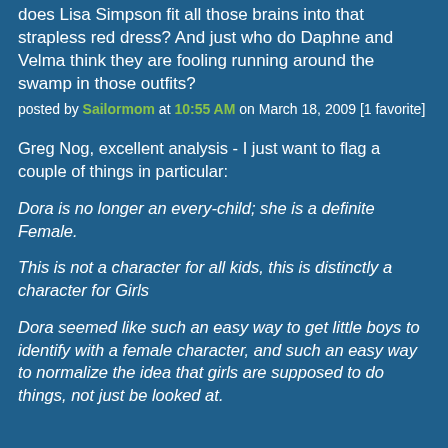does Lisa Simpson fit all those brains into that strapless red dress? And just who do Daphne and Velma think they are fooling running around the swamp in those outfits?
posted by Sailormom at 10:55 AM on March 18, 2009 [1 favorite]
Greg Nog, excellent analysis - I just want to flag a couple of things in particular:
Dora is no longer an every-child; she is a definite Female.
This is not a character for all kids, this is distinctly a character for Girls
Dora seemed like such an easy way to get little boys to identify with a female character, and such an easy way to normalize the idea that girls are supposed to do things, not just be looked at.